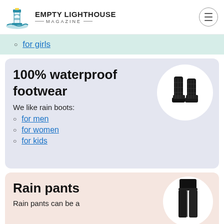EMPTY LIGHTHOUSE MAGAZINE
for girls
100% waterproof footwear
We like rain boots:
for men
for women
for kids
[Figure (photo): Black quilted rain boots on white circle background]
Rain pants
Rain pants can be a
[Figure (photo): Person wearing dark rain pants on white circle background]